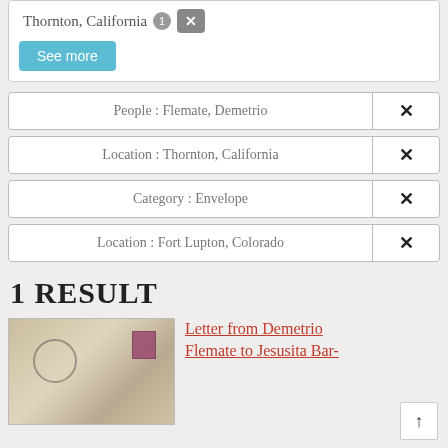Thornton, California × ×
[Figure (other): See more button - blue rounded rectangle]
People : Flemate, Demetrio ×
Location : Thornton, California ×
Category : Envelope ×
Location : Fort Lupton, Colorado ×
1 RESULT
[Figure (photo): Thumbnail image of an old envelope with postmark and stamp]
Letter from Demetrio Flemate to Jesusita Bar-